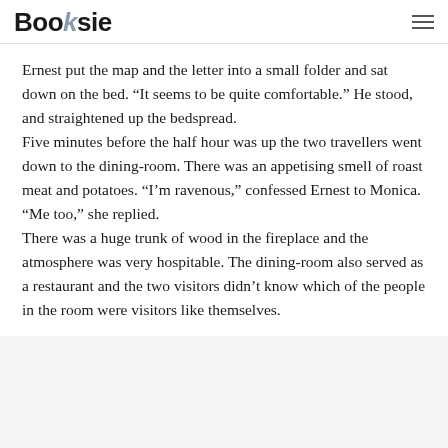Booksie
Ernest put the map and the letter into a small folder and sat down on the bed. “It seems to be quite comfortable.” He stood, and straightened up the bedspread.
Five minutes before the half hour was up the two travellers went down to the dining-room. There was an appetising smell of roast meat and potatoes. “I’m ravenous,” confessed Ernest to Monica.
“Me too,” she replied.
There was a huge trunk of wood in the fireplace and the atmosphere was very hospitable. The dining-room also served as a restaurant and the two visitors didn’t know which of the people in the room were visitors like themselves.